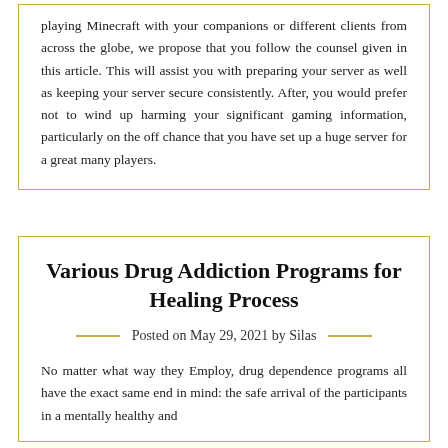playing Minecraft with your companions or different clients from across the globe, we propose that you follow the counsel given in this article. This will assist you with preparing your server as well as keeping your server secure consistently. After, you would prefer not to wind up harming your significant gaming information, particularly on the off chance that you have set up a huge server for a great many players.
Various Drug Addiction Programs for Healing Process
Posted on May 29, 2021 by Silas
No matter what way they Employ, drug dependence programs all have the exact same end in mind: the safe arrival of the participants in a mentally healthy and